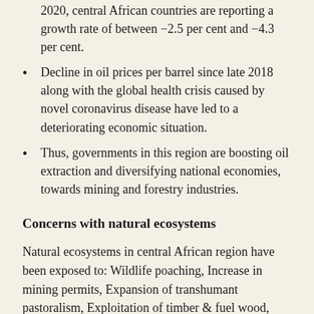According to the IMF economic forecasts for 2020, central African countries are reporting a growth rate of between −2.5 per cent and −4.3 per cent.
Decline in oil prices per barrel since late 2018 along with the global health crisis caused by novel coronavirus disease have led to a deteriorating economic situation.
Thus, governments in this region are boosting oil extraction and diversifying national economies, towards mining and forestry industries.
Concerns with natural ecosystems
Natural ecosystems in central African region have been exposed to: Wildlife poaching, Increase in mining permits, Expansion of transhumant pastoralism, Exploitation of timber & fuel wood, Industrial agriculture & family farming as well as land conflicts.